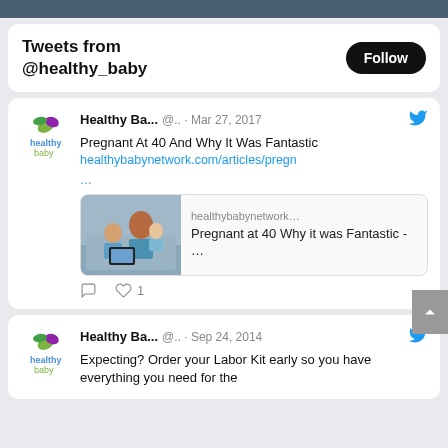Tweets from @healthy_baby
Healthy Ba... @.. · Mar 27, 2017
Pregnant At 40 And Why It Was Fantastic
healthybabynetwork.com/articles/pregn
...
[Figure (screenshot): Link preview card with photo of a woman with two children and text: healthybabynetwork... Pregnant at 40 Why it was Fantastic - ...]
♡ 1
Healthy Ba... @.. · Sep 24, 2014
Expecting? Order your Labor Kit early so you have everything you need for the